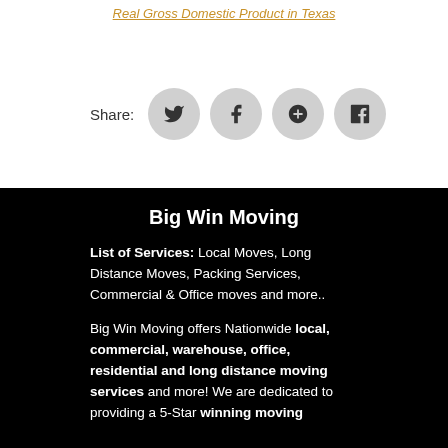Real Gross Domestic Product in Texas
Share:
Big Win Moving
List of Services: Local Moves, Long Distance Moves, Packing Services, Commercial & Office moves and more..
Big Win Moving offers Nationwide local, commercial, warehouse, office, residential and long distance moving services and more! We are dedicated to providing a 5-Star winning moving